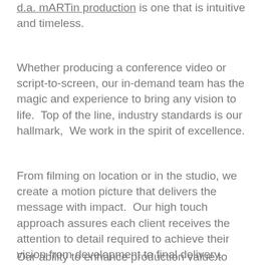d.a. mARTin production is one that is intuitive and timeless.
Whether producing a conference video or script-to-screen, our in-demand team has the magic and experience to bring any vision to life.  Top of the line, industry standards is our hallmark,  We work in the spirit of excellence.
From filming on location or in the studio, we create a motion picture that delivers the message with impact.  Our high touch approach assures each client receives the attention to detail required to achieve their vision from development to final delivery.
Our ability to enhance production value to